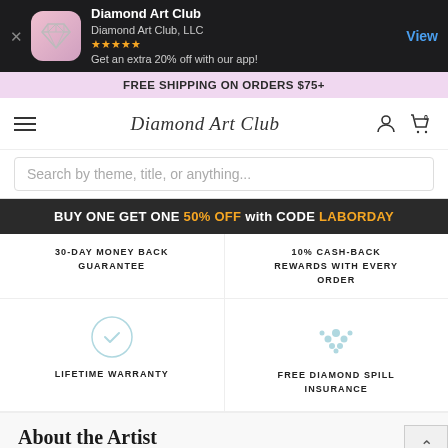[Figure (screenshot): App store banner for Diamond Art Club app showing app icon, name, company, star rating, and View button]
FREE SHIPPING ON ORDERS $75+
[Figure (logo): Diamond Art Club cursive script logo in navigation bar with hamburger menu, user icon, and cart icon]
Search by theme, title, or anything...
BUY ONE GET ONE 50% OFF with CODE LABORDAY
30-DAY MONEY BACK GUARANTEE
10% CASH-BACK REWARDS WITH EVERY ORDER
[Figure (illustration): Shield with checkmark icon for Lifetime Warranty]
LIFETIME WARRANTY
[Figure (illustration): Diamond/gem cluster icon for Free Diamond Spill Insurance]
FREE DIAMOND SPILL INSURANCE
About the Artist